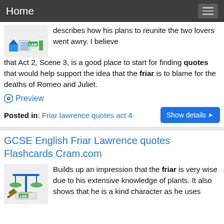Home
describes how his plans to reunite the two lovers went awry. I believe that Act 2, Scene 3, is a good place to start for finding quotes that would help support the idea that the friar is to blame for the deaths of Romeo and Juliet.
Preview
Posted in: Friar lawrence quotes act 4
GCSE English Friar Lawrence quotes Flashcards Cram.com
Builds up an impression that the friar is very wise due to his extensive knowledge of plants. It also shows that he is a kind character as he uses